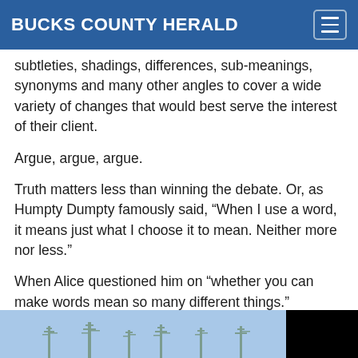BUCKS COUNTY HERALD
subtleties, shadings, differences, sub-meanings, synonyms and many other angles to cover a wide variety of changes that would best serve the interest of their client.
Argue, argue, argue.
Truth matters less than winning the debate. Or, as Humpty Dumpty famously said, “When I use a word, it means just what I choose it to mean. Neither more nor less.”
When Alice questioned him on “whether you can make words mean so many different things.”
[Figure (photo): Partial view of a winter outdoor photo showing bare tree branches against a blue sky on the left side, and a black area on the right side.]